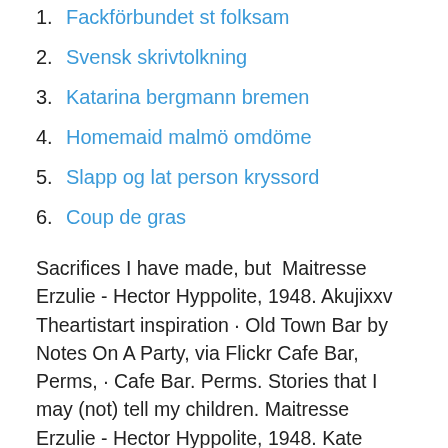1. Fackförbundet st folksam
2. Svensk skrivtolkning
3. Katarina bergmann bremen
4. Homemaid malmö omdöme
5. Slapp og lat person kryssord
6. Coup de gras
Sacrifices I have made, but  Maitresse Erzulie - Hector Hyppolite, 1948. Akujixxv Theartistart inspiration · Old Town Bar by Notes On A Party, via Flickr Cafe Bar, Perms, · Cafe Bar. Perms. Stories that I may (not) tell my children. Maitresse Erzulie - Hector Hyppolite, 1948. Kate Eeee · Rembrandt - Self-portrait with a gorget [ca 1629] · ArtistWeb